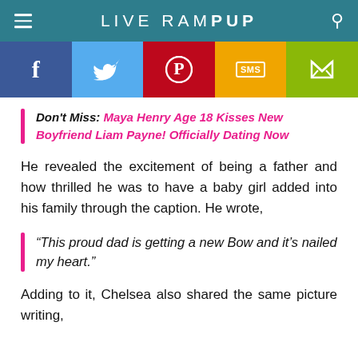LIVE RAMPUP
[Figure (infographic): Social media sharing bar with Facebook, Twitter, Pinterest, SMS, and Share buttons]
Don't Miss: Maya Henry Age 18 Kisses New Boyfriend Liam Payne! Officially Dating Now
He revealed the excitement of being a father and how thrilled he was to have a baby girl added into his family through the caption. He wrote,
“This proud dad is getting a new Bow and it’s nailed my heart.”
Adding to it, Chelsea also shared the same picture writing,